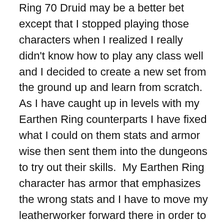Ring 70 Druid may be a better bet except that I stopped playing those characters when I realized I really didn't know how to play any class well and I decided to create a new set from the ground up and learn from scratch.  As I have caught up in levels with my Earthen Ring counterparts I have fixed what I could on them stats and armor wise then sent them into the dungeons to try out their skills.  My Earthen Ring character has armor that emphasizes the wrong stats and I have to move my leatherworker forward there in order to outfit her properly.  Sigh.
In any case, this is the order of my Feral Cat toolbar:
Wild Charge
Tiger's Fury
Mangle